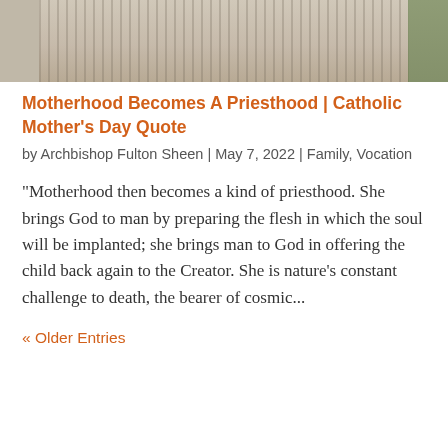[Figure (photo): Cropped top portion of a person wearing a striped shirt, with greenery in background]
Motherhood Becomes A Priesthood | Catholic Mother's Day Quote
by Archbishop Fulton Sheen | May 7, 2022 | Family, Vocation
"Motherhood then becomes a kind of priesthood. She brings God to man by preparing the flesh in which the soul will be implanted; she brings man to God in offering the child back again to the Creator. She is nature's constant challenge to death, the bearer of cosmic...
« Older Entries